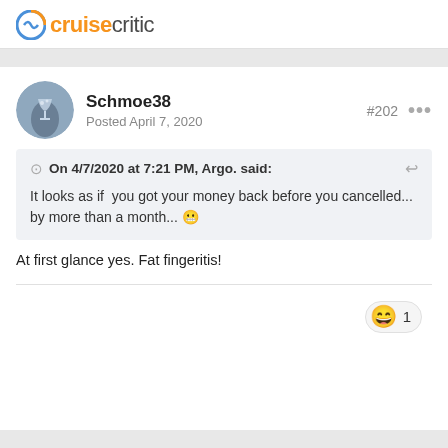[Figure (logo): Cruise Critic logo with orange/blue circular icon and text 'cruisecritic']
Schmoe38
Posted April 7, 2020
#202
On 4/7/2020 at 7:21 PM, Argo. said:
It looks as if  you got your money back before you cancelled... by more than a month... 😬
At first glance yes. Fat fingeritis!